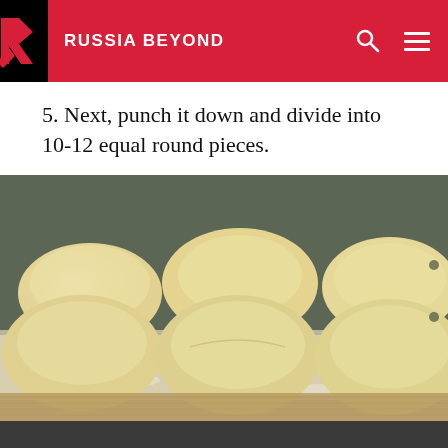RUSSIA BEYOND
5. Next, punch it down and divide into 10-12 equal round pieces.
[Figure (photo): Six round dough balls arranged on a floured baking tray/board, viewed from slightly above. The dough is pale yellow and sits on parchment paper on a wooden board.]
This website uses cookies. Click here to find out more.
Accept cookies